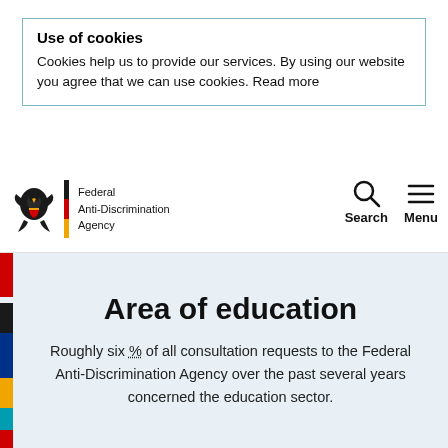Use of cookies
Cookies help us to provide our services. By using our website you agree that we can use cookies. Read more
[Figure (logo): Federal Anti-Discrimination Agency logo with German eagle and tricolor bar]
Area of education
Roughly six % of all consultation requests to the Federal Anti-Discrimination Agency over the past several years concerned the education sector.